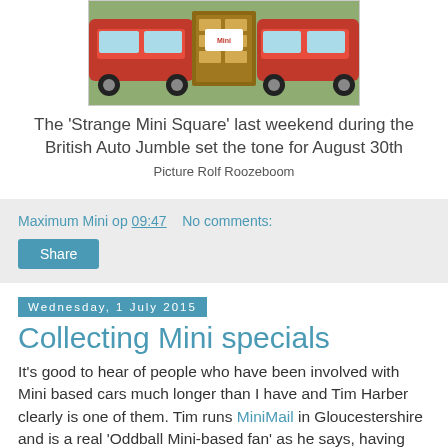[Figure (photo): Photo of two red Mini cars flanking a wooden trophy board with small plaques, on grass background]
The 'Strange Mini Square' last weekend during the British Auto Jumble set the tone for August 30th
Picture Rolf Roozeboom
Maximum Mini op 09:47    No comments:
Share
Wednesday, 1 July 2015
Collecting Mini specials
It's good to hear of people who have been involved with Mini based cars much longer than I have and Tim Harber clearly is one of them. Tim runs MiniMail in Gloucestershire and is a real 'Oddball Mini-based fan' as he says, having owned and driven a plethora of specials and kits. From Marcos to Hustler, from GTM to Status and from Jam to a rather special